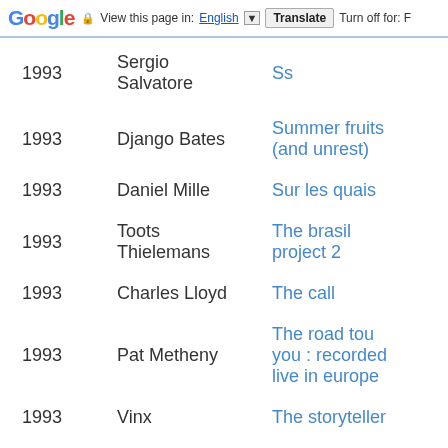Google  View this page in: English [▼]  Translate  Turn off for: F
| Year | Artist | Title |
| --- | --- | --- |
| 1993 | Sergio Salvatore | Ss |
| 1993 | Django Bates | Summer fruits (and unrest) |
| 1993 | Daniel Mille | Sur les quais |
| 1993 | Toots Thielemans | The brasil project 2 |
| 1993 | Charles Lloyd | The call |
| 1993 | Pat Metheny | The road tou you : recorded live in europe |
| 1993 | Vinx | The storyteller |
| 1993 | ... | The sun don't |